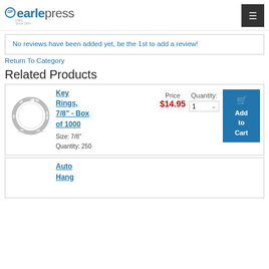[Figure (logo): Earle Press Inc. logo with GP circular emblem, blue text]
No reviews have been added yet, be the 1st to add a review!
Return To Category
Related Products
[Figure (photo): Key ring, silver metal split ring, 7/8 inch]
Key Rings, 7/8" - Box of 1000
Price
$14.95
Quantity:
1
Add to Cart
Size: 7/8"
Quantity: 250
Auto Hang